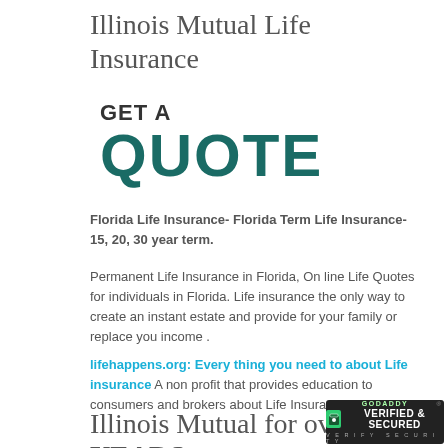Illinois Mutual Life Insurance
[Figure (infographic): GET A QUOTE promotional graphic in dark teal bold uppercase text]
Florida Life Insurance- Florida Term Life Insurance- 15, 20, 30 year term.
Permanent Life Insurance in Florida, On line Life Quotes for individuals in Florida. Life insurance the only way to create an instant estate and provide for your family or replace you income .
lifehappens.org: Every thing you need to about Life insurance A non profit that provides education to consumers and brokers about Life Insurance.
Illinois Mutual for over 100 YEARS
[Figure (logo): GoDaddy Verified & Secured badge in bottom right corner]